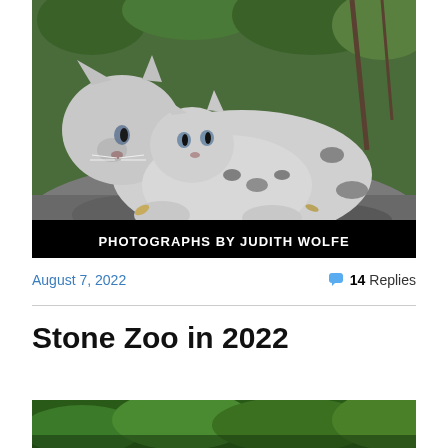[Figure (photo): Two snow leopards (adult and cub) resting on a rock with green foliage in the background. Black and white spotted fur. Text overlay at bottom reads 'PHOTOGRAPHS BY JUDITH WOLFE' in white bold text on black bar.]
August 7, 2022
💬 14 Replies
Stone Zoo in 2022
[Figure (photo): Partial bottom image showing green foliage, beginning of another zoo photograph.]